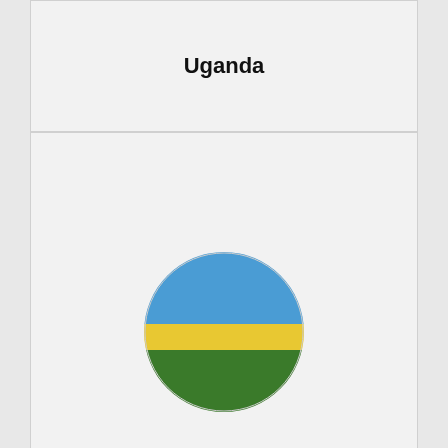Uganda
[Figure (illustration): Rwanda flag as a circular badge: blue top half with yellow sun, yellow middle stripe, green bottom portion]
Rwanda
[Figure (illustration): Burundi flag as a circular badge: red and green quadrants with white diagonal cross and three red stars in center]